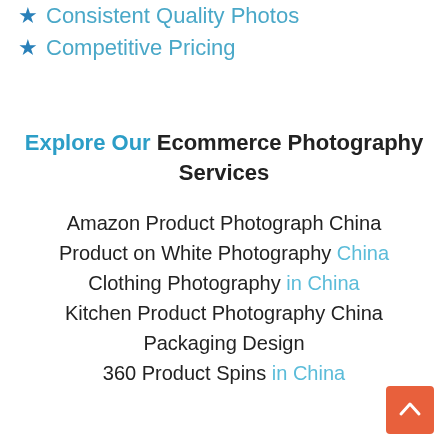★ Consistent Quality Photos
★ Competitive Pricing
Explore Our Ecommerce Photography Services
Amazon Product Photograph China
Product on White Photography China
Clothing Photography in China
Kitchen Product Photography China
Packaging Design
360 Product Spins in China